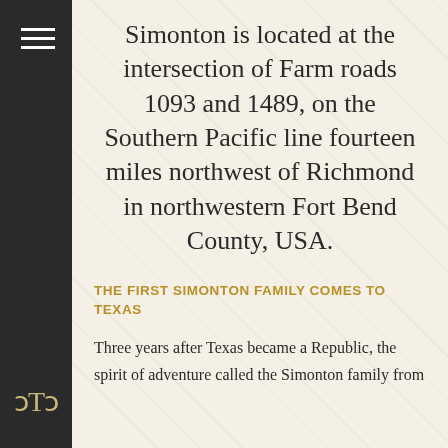Simonton is located at the intersection of Farm roads 1093 and 1489, on the Southern Pacific line fourteen miles northwest of Richmond in northwestern Fort Bend County, USA.
THE FIRST SIMONTON FAMILY COMES TO TEXAS
Three years after Texas became a Republic, the spirit of adventure called the Simonton family from